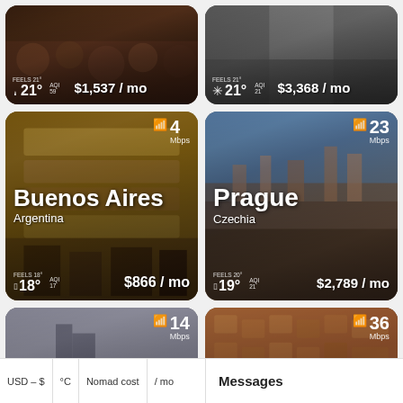[Figure (photo): Top-left city card: crowded street scene, temperature 21°, feels 21°, AQI 59, cost $1,537/mo]
[Figure (photo): Top-right city card: wide road/highway scene, snow icon, temperature 21°, feels 21°, AQI 21, cost $3,368/mo]
[Figure (photo): Buenos Aires, Argentina. WiFi 4 Mbps, 18°, feels 18°, AQI 17, $866/mo]
[Figure (photo): Prague, Czechia. WiFi 23 Mbps, 19°, feels 20°, AQI 21, $2,789/mo]
[Figure (photo): London, United Kingdom. WiFi 14 Mbps, partial card at bottom, /mo]
[Figure (photo): Barcelona, Spain. WiFi 36 Mbps, aerial city view]
USD – $   °C   Nomad cost   / mo
Messages